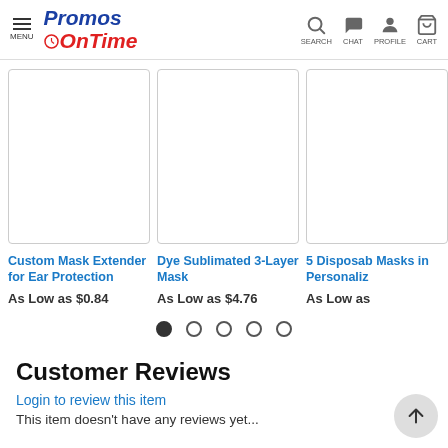PromosOnTime — MENU | SEARCH | CHAT | PROFILE | CART
[Figure (screenshot): Product image placeholder for Custom Mask Extender for Ear Protection]
[Figure (screenshot): Product image placeholder for Dye Sublimated 3-Layer Mask]
[Figure (screenshot): Product image placeholder for 5 Disposable Masks in Personalized packaging]
Custom Mask Extender for Ear Protection
As Low as $0.84
Dye Sublimated 3-Layer Mask
As Low as $4.76
5 Disposable Masks in Personalized
As Low as
Customer Reviews
Login to review this item
This item doesn't have any reviews yet...